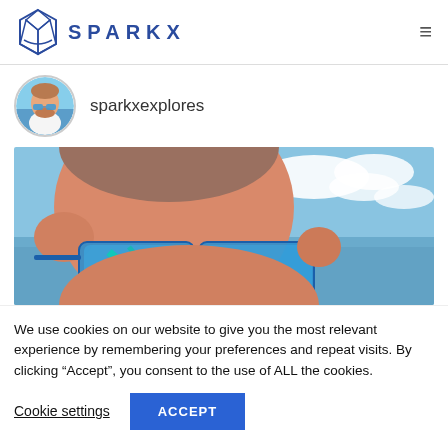SPARKX
sparkxexplores
[Figure (photo): Close-up selfie of a man wearing blue mirrored sunglasses outdoors with ocean and cloudy sky in background]
We use cookies on our website to give you the most relevant experience by remembering your preferences and repeat visits. By clicking “Accept”, you consent to the use of ALL the cookies.
Cookie settings
ACCEPT